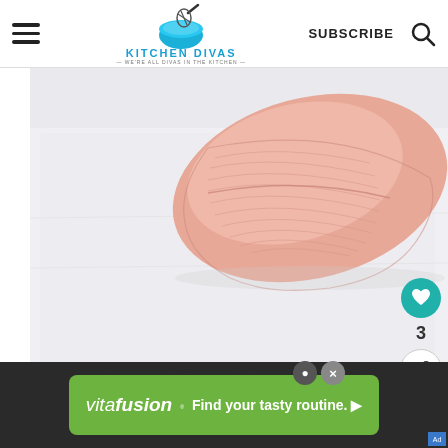Kitchen Divas | SUBSCRIBE
[Figure (photo): Raw fish fillet (tuna or tilapia) on white paper/surface, showing pink flesh with visible texture]
2. Place the fillet, skin side down into a large plastic or glass container.
[Figure (infographic): What's Next: Smoked Salmon Cakes - thumbnail and label overlay]
[Figure (infographic): vitafusion advertisement banner: Find your tasty routine.]